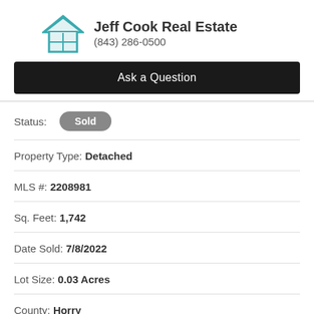[Figure (logo): Jeff Cook Real Estate house logo in teal/blue tones with window pane design]
Jeff Cook Real Estate
(843) 286-0500
Ask a Question
Status: Sold
Property Type: Detached
MLS #: 2208981
Sq. Feet: 1,742
Date Sold: 7/8/2022
Lot Size: 0.03 Acres
County: Horry